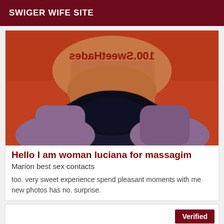SWIGER WIFE SITE
[Figure (photo): Close-up photo of a woman's torso in black lingerie with a watermark text overlay reading a mirrored/distorted URL]
Hello I am woman luciana for massagim
Marion best sex contacts
too. very sweet experience spend pleasant moments with me new photos has no. surprise.
Verified